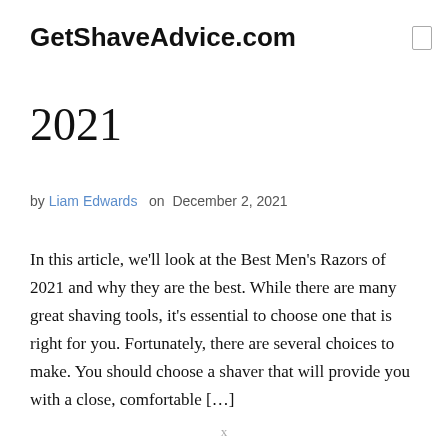GetShaveAdvice.com
2021
by Liam Edwards on December 2, 2021
In this article, we'll look at the Best Men's Razors of 2021 and why they are the best. While there are many great shaving tools, it's essential to choose one that is right for you. Fortunately, there are several choices to make. You should choose a shaver that will provide you with a close, comfortable [...]